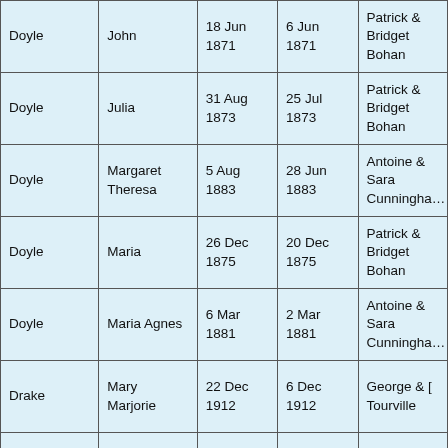| Surname | First Name | Birth Date | Baptism Date | Parents |
| --- | --- | --- | --- | --- |
| Doyle | John | 18 Jun 1871 | 6 Jun 1871 | Patrick & Bridget Bohan |
| Doyle | Julia | 31 Aug 1873 | 25 Jul 1873 | Patrick & Bridget Bohan |
| Doyle | Margaret Theresa | 5 Aug 1883 | 28 Jun 1883 | Antoine & Sara Cunningham |
| Doyle | Maria | 26 Dec 1875 | 20 Dec 1875 | Patrick & Bridget Bohan |
| Doyle | Maria Agnes | 6 Mar 1881 | 2 Mar 1881 | Antoine & Sara Cunningham |
| Drake | Mary Marjorie | 22 Dec 1912 | 6 Dec 1912 | George & [Tourville] |
|  |  |  |  |  |